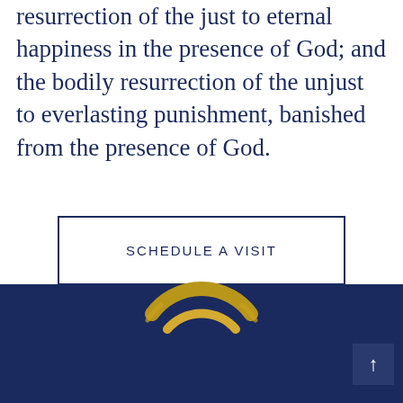resurrection of the just to eternal happiness in the presence of God; and the bodily resurrection of the unjust to everlasting punishment, banished from the presence of God.
SCHEDULE A VISIT
[Figure (logo): Partial gold arc logo on dark navy blue footer background]